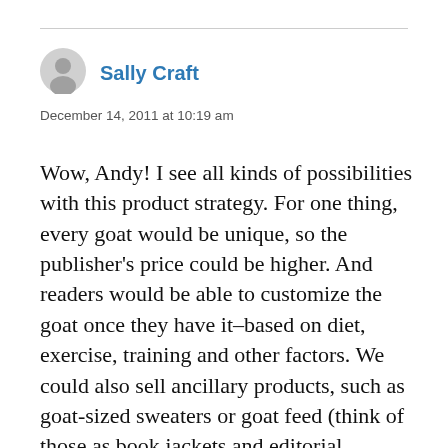[Figure (illustration): Gray circle avatar/profile icon]
Sally Craft
December 14, 2011 at 10:19 am
Wow, Andy! I see all kinds of possibilities with this product strategy. For one thing, every goat would be unique, so the publisher’s price could be higher. And readers would be able to customize the goat once they have it–based on diet, exercise, training and other factors. We could also sell ancillary products, such as goat-sized sweaters or goat feed (think of those as book jackets and editorial updates). Also, readers who buy more than one goat would soon have a whole library of goats that interact with each other. We could start a subscription